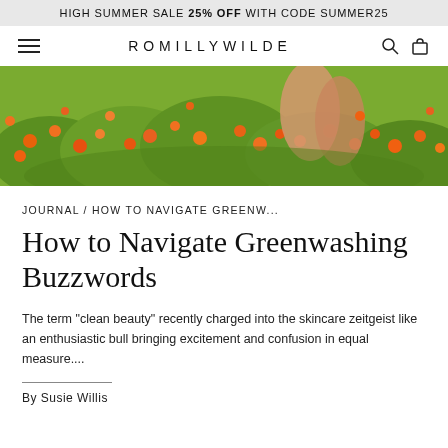HIGH SUMMER SALE 25% OFF WITH CODE SUMMER25
ROMILLYWILDE
[Figure (photo): Woman in a field of orange/marigold flowers with green foliage, outdoor nature scene]
JOURNAL / HOW TO NAVIGATE GREENW...
How to Navigate Greenwashing Buzzwords
The term "clean beauty" recently charged into the skincare zeitgeist like an enthusiastic bull bringing excitement and confusion in equal measure....
By Susie Willis